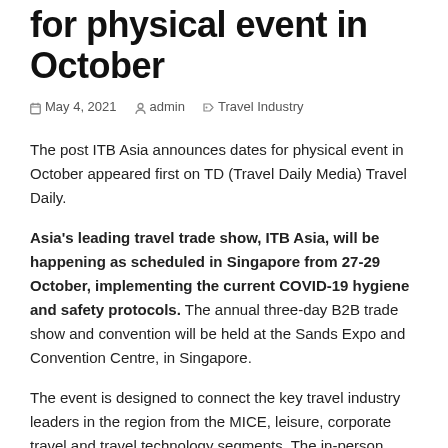for physical event in October
May 4, 2021   admin   Travel Industry
The post ITB Asia announces dates for physical event in October appeared first on TD (Travel Daily Media) Travel Daily.
Asia's leading travel trade show, ITB Asia, will be happening as scheduled in Singapore from 27-29 October, implementing the current COVID-19 hygiene and safety protocols. The annual three-day B2B trade show and convention will be held at the Sands Expo and Convention Centre, in Singapore.
The event is designed to connect the key travel industry leaders in the region from the MICE, leisure, corporate travel and travel technology segments. The in-person event will be structured to be safe, face-to-face for...